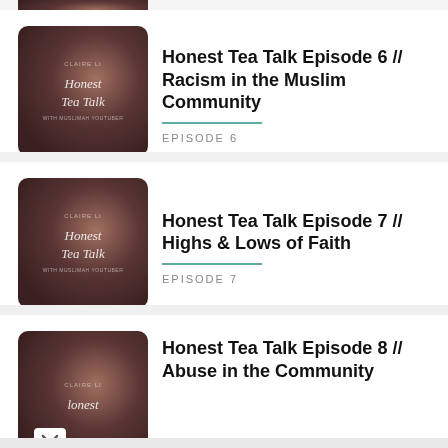[Figure (screenshot): Partial podcast episode thumbnail at top of page for Honest Tea Talk]
Honest Tea Talk Episode 6 // Racism in the Muslim Community
EPISODE 6
[Figure (screenshot): Podcast episode thumbnail for Honest Tea Talk Episode 7]
Honest Tea Talk Episode 7 // Highs & Lows of Faith
EPISODE 7
[Figure (screenshot): Partial podcast episode thumbnail for Honest Tea Talk Episode 8]
Honest Tea Talk Episode 8 // Abuse in the Community